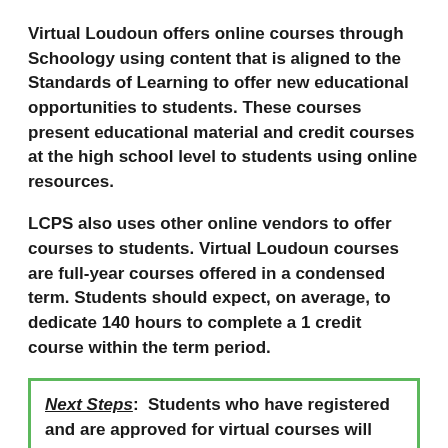Virtual Loudoun offers online courses through Schoology using content that is aligned to the Standards of Learning to offer new educational opportunities to students. These courses present educational material and credit courses at the high school level to students using online resources.
LCPS also uses other online vendors to offer courses to students. Virtual Loudoun courses are full-year courses offered in a condensed term. Students should expect, on average, to dedicate 140 hours to complete a 1 credit course within the term period.
Next Steps: Students who have registered and are approved for virtual courses will receive a welcome email from their instructor on the Friday